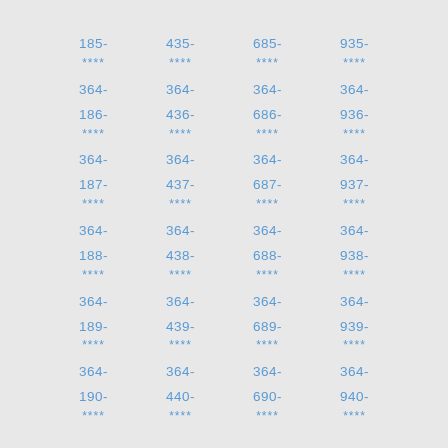| 185- | 435- | 685- | 935- |
| **** | **** | **** | **** |
| 364- | 364- | 364- | 364- |
| 186- | 436- | 686- | 936- |
| **** | **** | **** | **** |
| 364- | 364- | 364- | 364- |
| 187- | 437- | 687- | 937- |
| **** | **** | **** | **** |
| 364- | 364- | 364- | 364- |
| 188- | 438- | 688- | 938- |
| **** | **** | **** | **** |
| 364- | 364- | 364- | 364- |
| 189- | 439- | 689- | 939- |
| **** | **** | **** | **** |
| 364- | 364- | 364- | 364- |
| 190- | 440- | 690- | 940- |
| **** | **** | **** | **** |